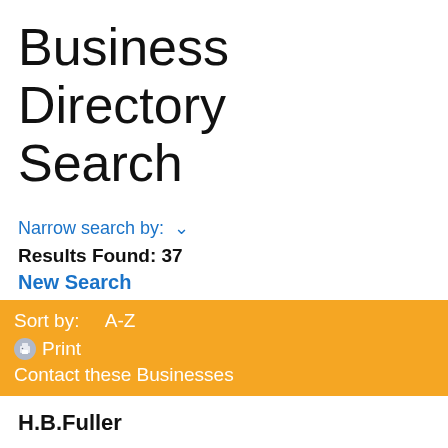Business Directory Search
Narrow search by: ∨
Results Found: 37
New Search
Sort by:    A-Z
🖨 Print
Contact these Businesses
H.B.Fuller
4401 Page Ave
Michigan Center, MI 49254